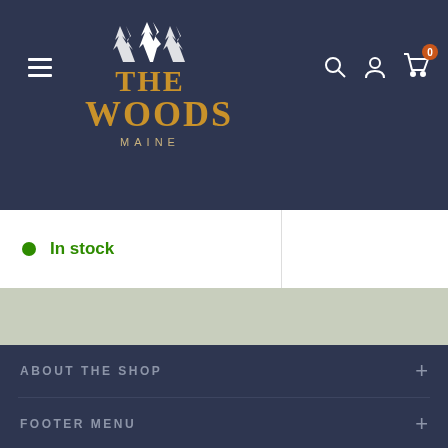[Figure (logo): The Woods Maine logo with pine trees, gold lettering on dark navy header bar]
In stock
ABOUT THE SHOP
FOOTER MENU
STORE HOURS